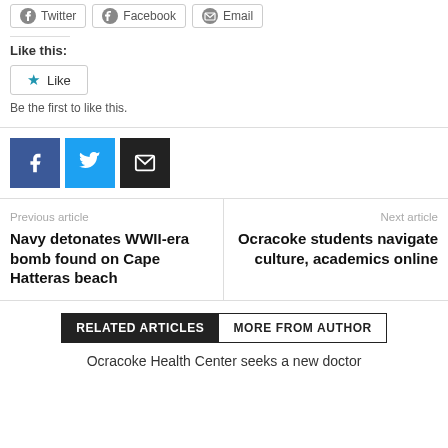[Figure (other): Social share buttons: Twitter, Facebook, Email (outline style)]
Like this:
[Figure (other): Like button with star icon]
Be the first to like this.
[Figure (other): Colored social share buttons: Facebook (blue), Twitter (light blue), Email (black)]
Previous article
Navy detonates WWII-era bomb found on Cape Hatteras beach
Next article
Ocracoke students navigate culture, academics online
[Figure (other): Related Articles / More From Author tab buttons]
Ocracoke Health Center seeks a new doctor